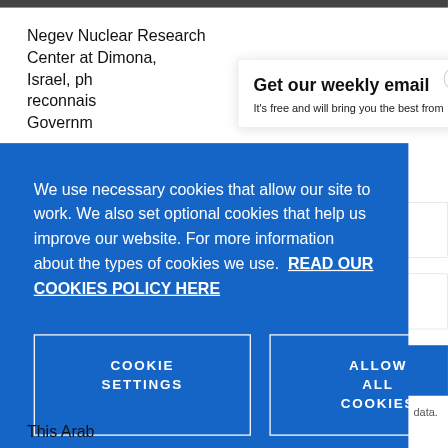Negev Nuclear Research Center at Dimona, Israel, ph... reconnais... Governm...
Get our weekly email
It's free and will bring you the best from
We use necessary cookies that allow our site to work. We also set optional cookies that help us improve our website. For more information about the types of cookies we use. READ OUR COOKIES POLICY HERE
COOKIE SETTINGS
ALLOW ALL COOKIES
data.
This Arab